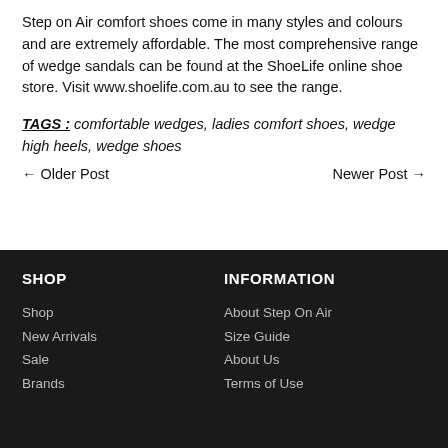Step on Air comfort shoes come in many styles and colours and are extremely affordable. The most comprehensive range of wedge sandals can be found at the ShoeLife online shoe store. Visit www.shoelife.com.au to see the range.
TAGS : comfortable wedges, ladies comfort shoes, wedge high heels, wedge shoes
← Older Post    Newer Post →
SHOP
INFORMATION
Shop
New Arrivals
Sale
Brands
About Step On Air
Size Guide
About Us
Terms of Use